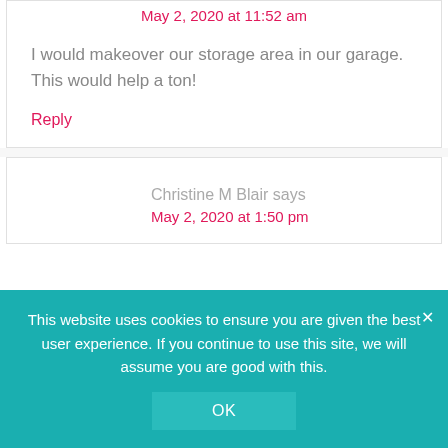May 2, 2020 at 11:52 am
I would makeover our storage area in our garage. This would help a ton!
Reply
Christine M Blair says
May 2, 2020 at 1:50 pm
This website uses cookies to ensure you are given the best user experience. If you continue to use this site, we will assume you are good with this.
OK